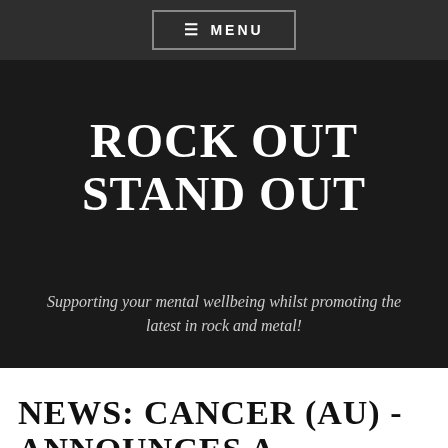≡ MENU
ROCK OUT STAND OUT
Supporting your mental wellbeing whilst promoting the latest in rock and metal!
NEWS: CANCER (AU) - ANNOUNCES A